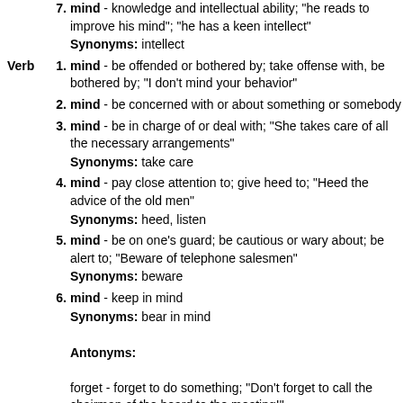7. mind - knowledge and intellectual ability; "he reads to improve his mind"; "he has a keen intellect" Synonyms: intellect
Verb 1. mind - be offended or bothered by; take offense with, be bothered by; "I don't mind your behavior"
2. mind - be concerned with or about something or somebody
3. mind - be in charge of or deal with; "She takes care of all the necessary arrangements" Synonyms: take care
4. mind - pay close attention to; give heed to; "Heed the advice of the old men" Synonyms: heed, listen
5. mind - be on one's guard; be cautious or wary about; be alert to; "Beware of telephone salesmen" Synonyms: beware
6. mind - keep in mind Synonyms: bear in mind Antonyms: forget - forget to do something; "Don't forget to call the chairman of the board to the meeting!"